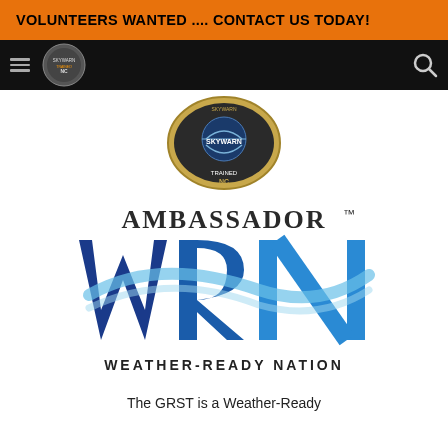VOLUNTEERS WANTED .... CONTACT US TODAY!
[Figure (logo): Black navigation bar with hamburger menu icon on left, circular SKYWARN organization logo next to it, and search icon on right]
[Figure (logo): SKYWARN TRAINED NC circular badge/pin logo centered on white background]
[Figure (logo): AMBASSADOR WRN Weather-Ready Nation logo with blue swooping letter shapes and text]
The GRST is a Weather-Ready